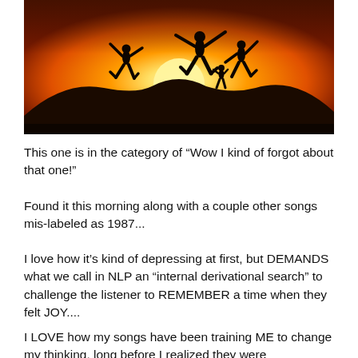[Figure (photo): Silhouette of three people (two adults and a child) jumping joyfully against a vibrant orange sunset sky with a large sun in the background and a dark hill or mountain silhouette below.]
This one is in the category of “Wow I kind of forgot about that one!”
Found it this morning along with a couple other songs mis-labeled as 1987...
I love how it’s kind of depressing at first, but DEMANDS what we call in NLP an “internal derivational search” to challenge the listener to REMEMBER a time when they felt JOY....
I LOVE how my songs have been training ME to change my thinking, long before I realized they were